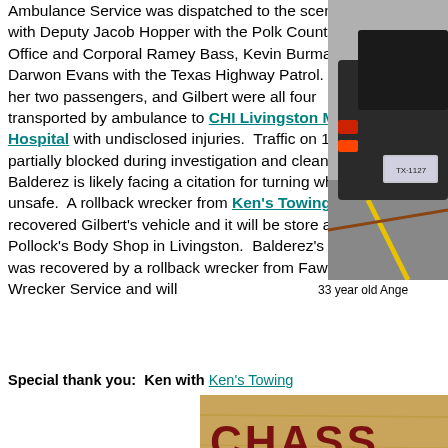Ambulance Service was dispatched to the scene along with Deputy Jacob Hopper with the Polk County Sheriff's Office and Corporal Ramey Bass, Kevin Burman, and Darwon Evans with the Texas Highway Patrol. Balderez, her two passengers, and Gilbert were all four transported by ambulance to CHI Livingston Memorial Hospital with undisclosed injuries. Traffic on 146 was partially blocked during investigation and cleanup. Balderez is likely facing a citation for turning while unsafe. A rollback wrecker from Ken's Towing recovered Gilbert's vehicle and it will be store at Pollock's Body Shop in Livingston. Balderez's vehicle was recovered by a rollback wrecker from Fawbush Wrecker Service and will
[Figure (photo): Photo of a vehicle, rear quarter panel visible with a Texas license plate, taken at scene of accident. Yellow line visible on road.]
33 year old Ange
Special thank you: Ken with Ken's Towing
[Figure (photo): Photo of a sign reading 'CHASS AUTO' with large dark letters on a light wooden background.]